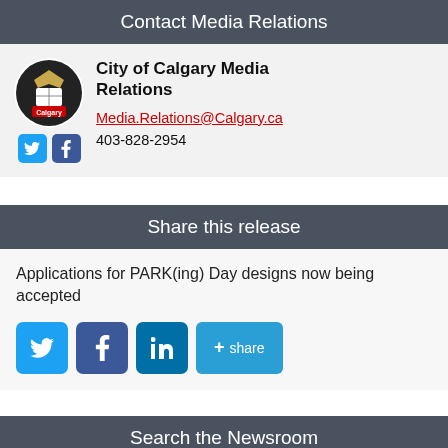Contact Media Relations
City of Calgary Media Relations
Media.Relations@Calgary.ca
403-828-2954
Share this release
Applications for PARK(ing) Day designs now being accepted
Search the Newsroom